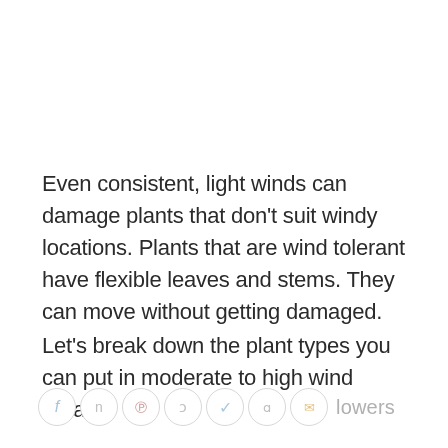Even consistent, light winds can damage plants that don't suit windy locations. Plants that are wind tolerant have flexible leaves and stems. They can move without getting damaged.
Let's break down the plant types you can put in moderate to high wind areas.
[Figure (other): Social sharing icon bar with Facebook, Pinterest, Twitter, email icons and the word 'lowers']